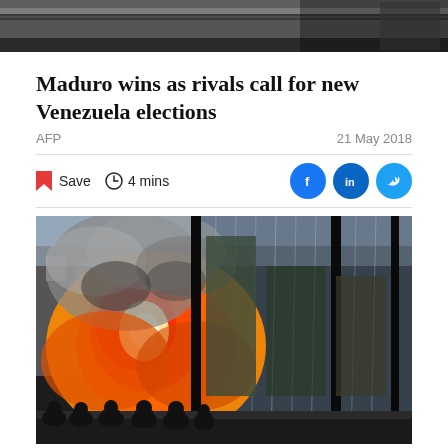[Figure (photo): Top partial photo showing car roof, dark background, cropped at top of page]
Maduro wins as rivals call for new Venezuela elections
AFP
21 May 2018
Save  4 mins
[Figure (photo): Photo of riot police on motorcycles in front of a massive explosion with orange and black flames and smoke, in a Venezuelan city street]
On El Pisto...his rivals to...the Venezuelan...